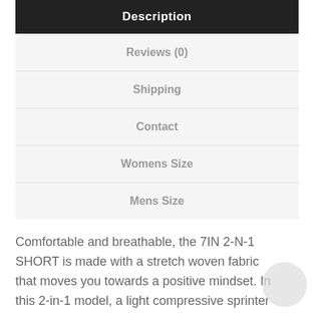Description
Reviews (0)
Shipping
Contact
Womens Size
Mens Size
Comfortable and breathable, the 7IN 2-N-1 SHORT is made with a stretch woven fabric that moves you towards a positive mindset. In this 2-in-1 model, a light compressive sprinter is built-in for added muscle support. These shorts also feature quick-drying properties that help you keep dry during your training. Lastly, the reflective ASICS Spiral on the front